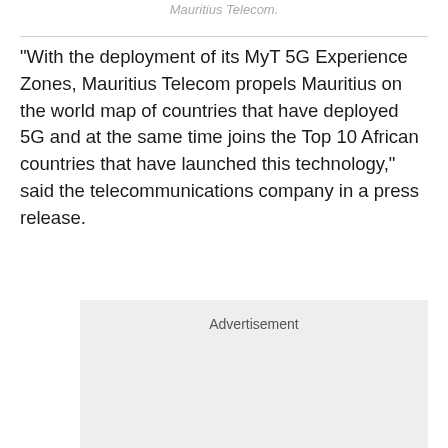Mauritius Telecom.
"With the deployment of its MyT 5G Experience Zones, Mauritius Telecom propels Mauritius on the world map of countries that have deployed 5G and at the same time joins the Top 10 African countries that have launched this technology," said the telecommunications company in a press release.
[Figure (other): Advertisement placeholder box with grey background]